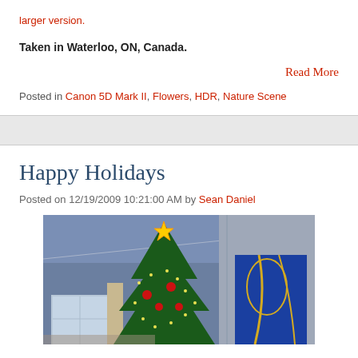larger version.
Taken in Waterloo, ON, Canada.
Read More
Posted in Canon 5D Mark II, Flowers, HDR, Nature Scene
Happy Holidays
Posted on 12/19/2009 10:21:00 AM by Sean Daniel
[Figure (photo): Christmas tree decorated with lights and red ornaments in a living room corner with blue artwork on the wall]